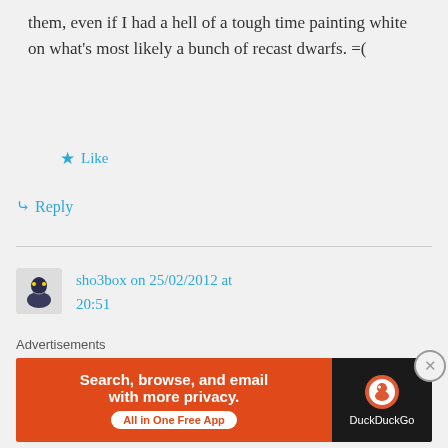them, even if I had a hell of a tough time painting white on what's most likely a bunch of recast dwarfs. =(
★ Like
↳ Reply
sho3box on 25/02/2012 at 20:51
Actually I have a 12 strong BB team of Halflings that I painted a lifetime ago that I
Advertisements
[Figure (other): DuckDuckGo advertisement banner: orange section with text 'Search, browse, and email with more privacy. All in One Free App' and dark section with DuckDuckGo logo]